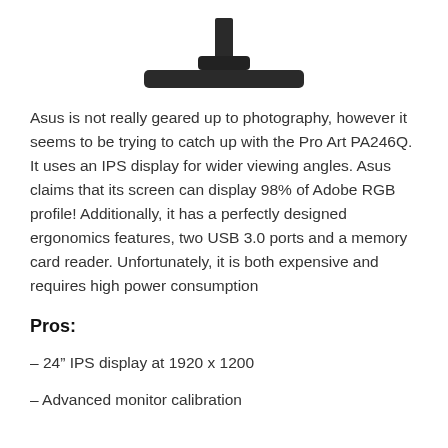[Figure (photo): Bottom portion of a monitor showing stand pole, connector, and rectangular base in dark/black color]
Asus is not really geared up to photography, however it seems to be trying to catch up with the Pro Art PA246Q. It uses an IPS display for wider viewing angles. Asus claims that its screen can display 98% of Adobe RGB profile! Additionally, it has a perfectly designed ergonomics features, two USB 3.0 ports and a memory card reader. Unfortunately, it is both expensive and requires high power consumption
Pros:
– 24” IPS display at 1920 x 1200
– Advanced monitor calibration